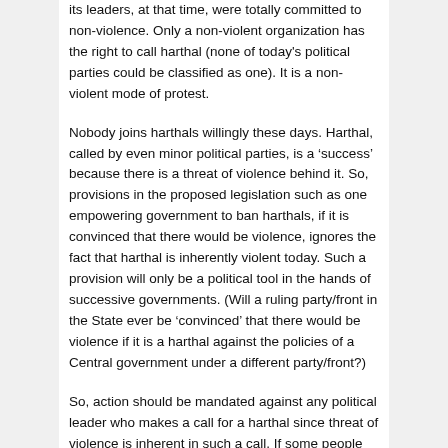its leaders, at that time, were totally committed to non-violence. Only a non-violent organization has the right to call harthal (none of today's political parties could be classified as one). It is a non-violent mode of protest.
Nobody joins harthals willingly these days. Harthal, called by even minor political parties, is a 'success' because there is a threat of violence behind it. So, provisions in the proposed legislation such as one empowering government to ban harthals, if it is convinced that there would be violence, ignores the fact that harthal is inherently violent today. Such a provision will only be a political tool in the hands of successive governments. (Will a ruling party/front in the State ever be 'convinced' that there would be violence if it is a harthal against the policies of a Central government under a different party/front?)
So, action should be mandated against any political leader who makes a call for a harthal since threat of violence is inherent in such a call. If some people locally and spontaneously observe a harthal on their own free will